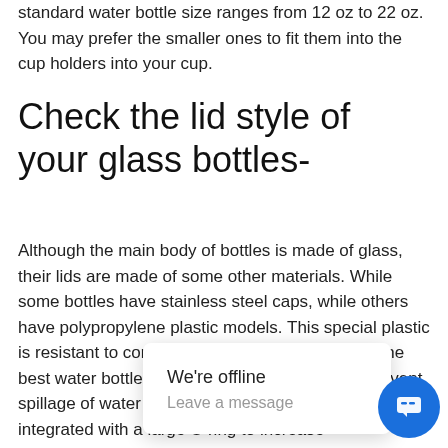standard water bottle size ranges from 12 oz to 22 oz. You may prefer the smaller ones to fit them into the cup holders into your cup.
Check the lid style of your glass bottles-
Although the main body of bottles is made of glass, their lids are made of some other materials. While some bottles have stainless steel caps, while others have polypropylene plastic models. This special plastic is resistant to corrosion and chemical leaching. The best water bottles have a leak-proof design to prevent spillage of water and any other liquid. Some caps are integrated with a large O ring to increase... Thus, check out... the right glass drinking water bottles.
[Figure (screenshot): Chat widget showing 'We're offline' and 'Leave a message' popup with a blue circular chat button icon in the bottom right corner.]